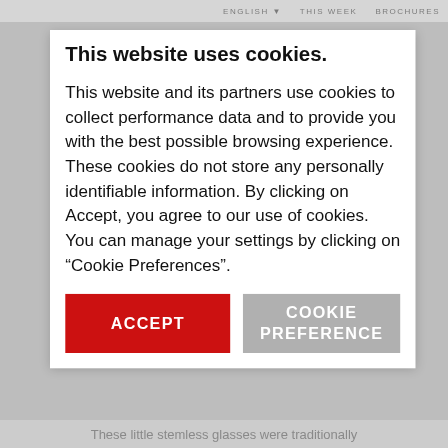ENGLISH   THIS WEEK   BROCHURES
This website uses cookies.
This website and its partners use cookies to collect performance data and to provide you with the best possible browsing experience. These cookies do not store any personally identifiable information. By clicking on Accept, you agree to our use of cookies. You can manage your settings by clicking on “Cookie Preferences”.
ACCEPT
COOKIE PREFERENCE
These little stemless glasses were traditionally